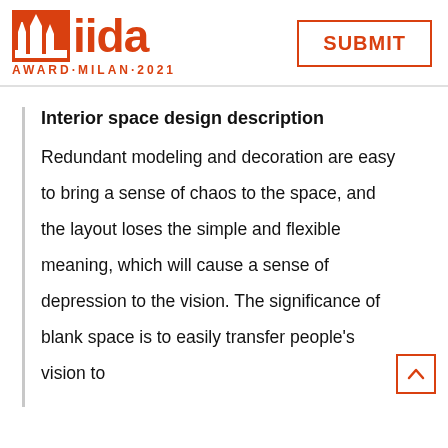[Figure (logo): IIDA Award Milan 2021 logo with orange cathedral silhouette icon and orange 'iida' text, with 'AWARD·MILAN·2021' subtitle]
[Figure (other): SUBMIT button with orange border and text]
Interior space design description
Redundant modeling and decoration are easy to bring a sense of chaos to the space, and the layout loses the simple and flexible meaning, which will cause a sense of depression to the vision. The significance of blank space is to easily transfer people's vision to